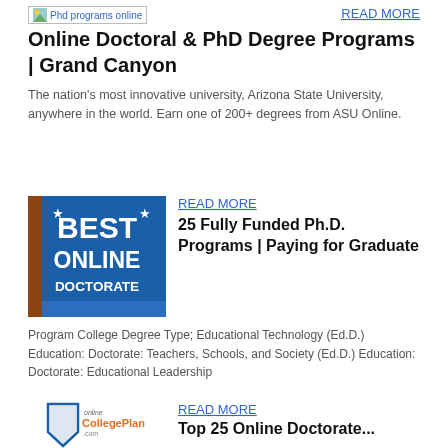[Figure (other): Small image placeholder labeled 'Phd programs online']
READ MORE
Online Doctoral & PhD Degree Programs | Grand Canyon
The nation’s most innovative university, Arizona State University, anywhere in the world. Earn one of 200+ degrees from ASU Online.
[Figure (other): Blue badge image reading BEST ONLINE DOCTORATE]
READ MORE
25 Fully Funded Ph.D. Programs | Paying for Graduate
Program College Degree Type; Educational Technology (Ed.D.) Education: Doctorate: Teachers, Schools, and Society (Ed.D.) Education: Doctorate: Educational Leadership
[Figure (logo): CollegePlan.com logo with shield shape]
READ MORE
Top 25 Online Doctorate...